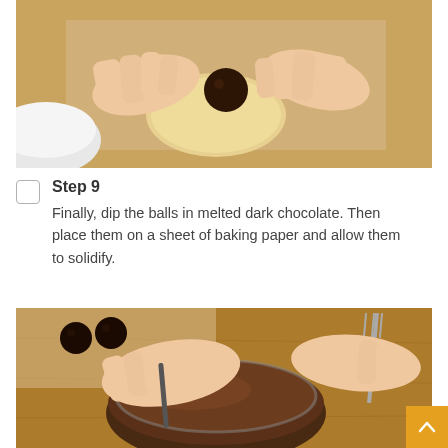[Figure (photo): Hands wrapping a dark chocolate ball in flat cookie dough on brown parchment paper, with a white bowl visible at lower left]
Step 9
Finally, dip the balls in melted dark chocolate. Then place them on a sheet of baking paper and allow them to solidify.
[Figure (photo): Hands dipping chocolate balls into a glass bowl of melted dark chocolate using a fork, on a wooden board with parchment paper and already-dipped balls visible in background]